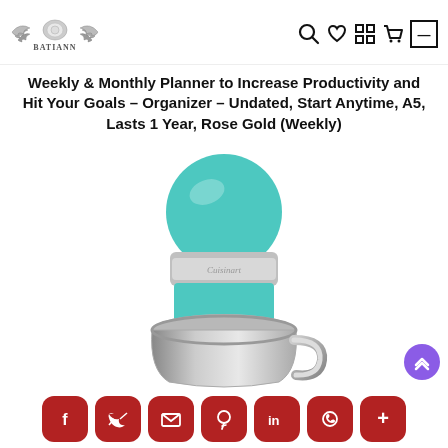Batiann store logo and navigation icons
Weekly & Monthly Planner to Increase Productivity and Hit Your Goals – Organizer – Undated, Start Anytime, A5, Lasts 1 Year, Rose Gold (Weekly)
[Figure (photo): Close-up photo of a teal/turquoise and silver Cuisinart stand mixer head with stainless steel bowl]
[Figure (infographic): Social sharing bar with icons for Facebook, Twitter, Email, Pinterest, LinkedIn, WhatsApp, and More (plus sign), all in dark red rounded square buttons]